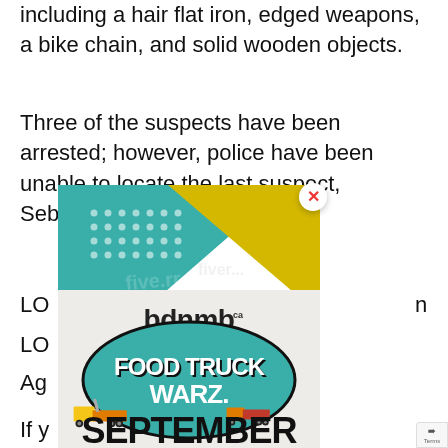including a hair flat iron, edged weapons, a bike chain, and solid wooden objects.
Three of the suspects have been arrested; however, police have been unable to locate the last suspect, Sebastian LO... LO... Age...
***
[Figure (illustration): Advertisement overlay for 'bdnmb presents Food Truck Warz' event in September, featuring illustrated food trucks on a teal/yellow geometric background, with a close (X) button in the top right corner.]
If y... of this... are... 20... www... BC... St...